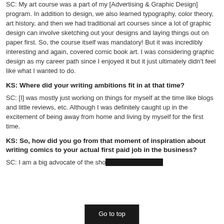SC: My art course was a part of my [Advertising & Graphic Design] program. In addition to design, we also learned typography, color theory, art history, and then we had traditional art courses since a lot of graphic design can involve sketching out your designs and laying things out on paper first. So, the course itself was mandatory! But it was incredibly interesting and again, covered comic book art. I was considering graphic design as my career path since I enjoyed it but it just ultimately didn't feel like what I wanted to do.
KS: Where did your writing ambitions fit in at that time?
SC: [I] was mostly just working on things for myself at the time like blogs and little reviews, etc. Although I was definitely caught up in the excitement of being away from home and living by myself for the first time.
KS: So, how did you go from that moment of inspiration about writing comics to your actual first paid job in the business?
SC: I am a big advocate of the sho… that it's something
[Figure (other): Go to top button overlay at bottom center of page]